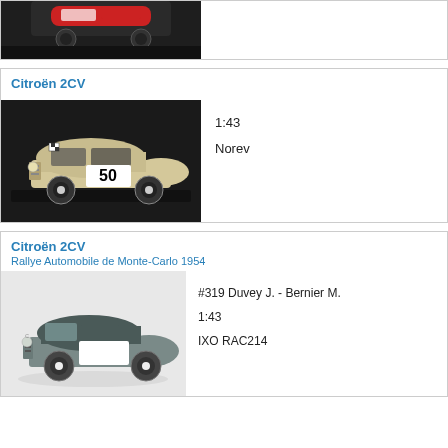[Figure (photo): Partial view of a model car on dark background (top of page, cropped)]
Citroën 2CV
[Figure (photo): Cream/beige Citroën 2CV model car with number 50 on side, on dark base]
1:43
Norev
Citroën 2CV
Rallye Automobile de Monte-Carlo 1954
[Figure (photo): Grey Citroën 2CV model car with number 319, Rallye Monte-Carlo 1954]
#319 Duvey J. - Bernier M.
1:43
IXO RAC214